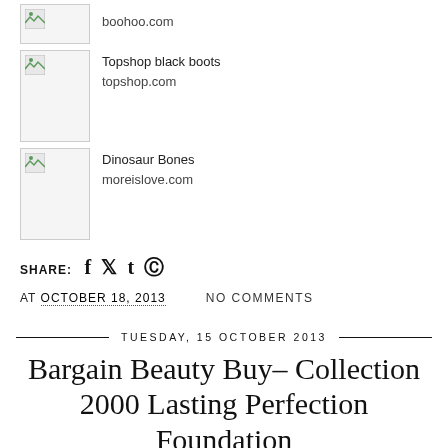Topshop black boots
topshop.com
Dinosaur Bones
moreislove.com
SHARE: f t t p
AT OCTOBER 18, 2013   NO COMMENTS
TUESDAY, 15 OCTOBER 2013
Bargain Beauty Buy– Collection 2000 Lasting Perfection Foundation
[Figure (photo): Bottom portion of an article image, blue/teal toned photo]